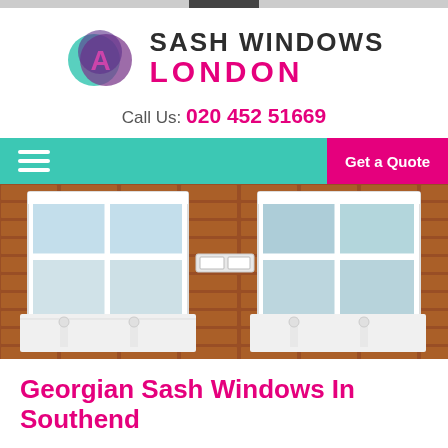[Figure (logo): Sash Windows London logo with circular overlapping teal and purple icon on the left and bold text SASH WINDOWS LONDON on the right]
Call Us: 020 452 51669
[Figure (screenshot): Navigation bar with teal background, hamburger menu icon on left and hot pink Get a Quote button on right]
[Figure (photo): Photograph of a brick building facade with two white Georgian sash windows featuring ornate white cast iron decorative window boxes]
Georgian Sash Windows In Southend